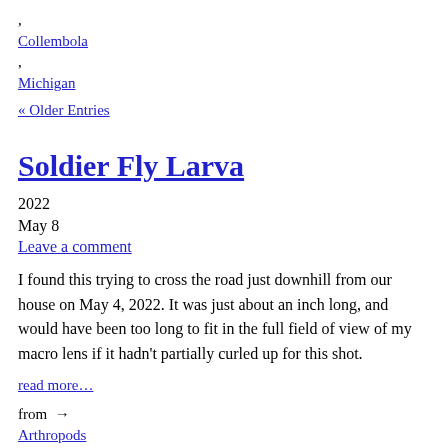, Collembola , Michigan
« Older Entries
Soldier Fly Larva
2022
May 8
Leave a comment
I found this trying to cross the road just downhill from our house on May 4, 2022. It was just about an inch long, and would have been too long to fit in the full field of view of my macro lens if it hadn't partially curled up for this shot.
read more…
from → Arthropods